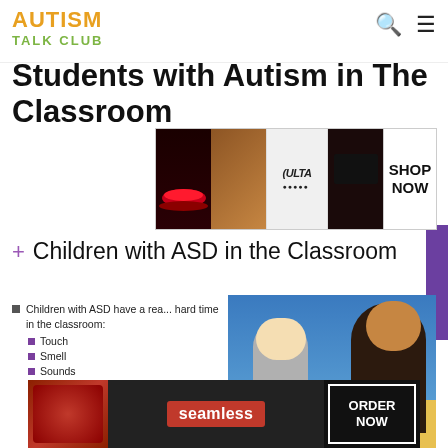AUTISM TALK CLUB
Students with Autism in The Classroom
[Figure (other): ULTA beauty advertisement banner with makeup images and SHOP NOW button]
Children with ASD in the Classroom
Children with ASD have a real hard time in the classroom:
Touch
Smell
Sounds
Space
Crowds
Eye contact
Made fun of
[Figure (photo): A teacher and young child with autism playing with colorful toys at a yellow table in a classroom]
[Figure (other): Seamless food delivery advertisement with pizza image and ORDER NOW button]